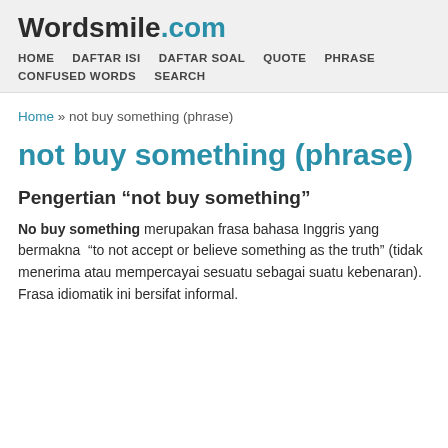Wordsmile.com
HOME   DAFTAR ISI   DAFTAR SOAL   QUOTE   PHRASE   CONFUSED WORDS   SEARCH
Home » not buy something (phrase)
not buy something (phrase)
Pengertian “not buy something”
No buy something merupakan frasa bahasa Inggris yang bermakna “to not accept or believe something as the truth” (tidak menerima atau mempercayai sesuatu sebagai suatu kebenaran). Frasa idiomatik ini bersifat informal.